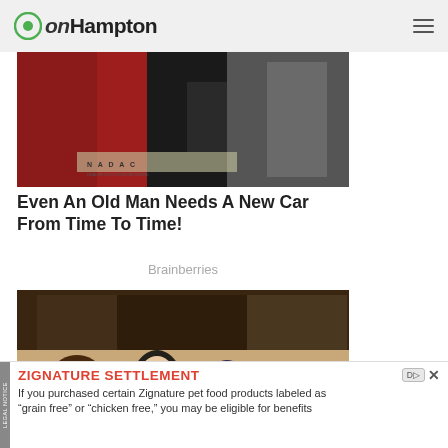onHampton
[Figure (photo): Partial image showing a car dealership scene with a red-dressed figure and people in suits, NADAC signage visible at bottom]
Even An Old Man Needs A New Car From Time To Time!
Brainberries
[Figure (photo): Scene from Friends TV show with cast members sitting on couches in Central Perk / apartment, a Thanksgiving episode]
All Friends Thanksgiving Episodes...
ZIGNATURE SETTLEMENT
If you purchased certain Zignature pet food products labeled as "grain free" or "chicken free," you may be eligible for benefits